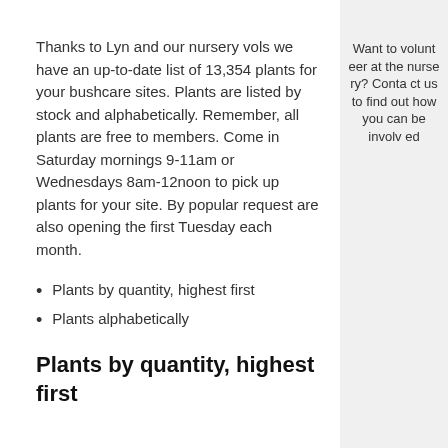Thanks to Lyn and our nursery vols we have an up-to-date list of 13,354 plants for your bushcare sites. Plants are listed by stock and alphabetically. Remember, all plants are free to members. Come in Saturday mornings 9-11am or Wednesdays 8am-12noon to pick up plants for your site. By popular request are also opening the first Tuesday each month.
Plants by quantity, highest first
Plants alphabetically
Plants by quantity, highest first
Want to volunteer at the nursery? Contact us to find out how you can be involved